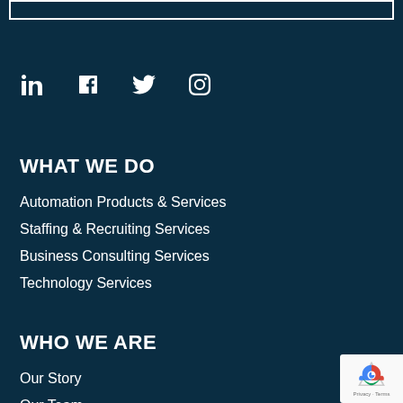[Figure (other): White bordered rectangle at top of page]
[Figure (other): Social media icons: LinkedIn, Facebook, Twitter, Instagram]
WHAT WE DO
Automation Products & Services
Staffing & Recruiting Services
Business Consulting Services
Technology Services
WHO WE ARE
Our Story
Our Team
[Figure (other): reCAPTCHA privacy badge at bottom right]